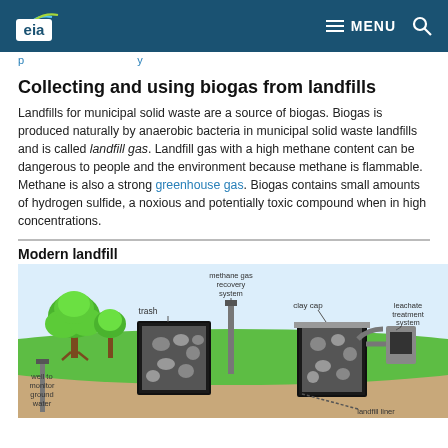EIA logo and navigation bar
...p...y...
Collecting and using biogas from landfills
Landfills for municipal solid waste are a source of biogas. Biogas is produced naturally by anaerobic bacteria in municipal solid waste landfills and is called landfill gas. Landfill gas with a high methane content can be dangerous to people and the environment because methane is flammable. Methane is also a strong greenhouse gas. Biogas contains small amounts of hydrogen sulfide, a noxious and potentially toxic compound when in high concentrations.
Modern landfill
[Figure (illustration): Diagram of a modern landfill cross-section showing: tree and grass on surface, trash layers underground, well to monitor ground water, methane gas recovery system, clay cap, leachate treatment system, landfill liner]